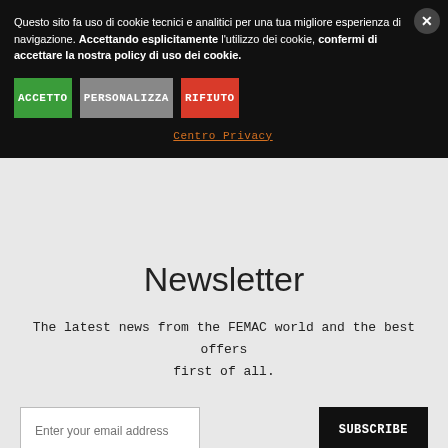Questo sito fa uso di cookie tecnici e analitici per una tua migliore esperienza di navigazione. Accettando esplicitamente l'utilizzo dei cookie, confermi di accettare la nostra policy di uso dei cookie.
ACCETTO
PERSONALIZZA
RIFIUTO
Centro Privacy
Newsletter
The latest news from the FEMAC world and the best offers first of all.
Enter your email address
SUBSCRIBE